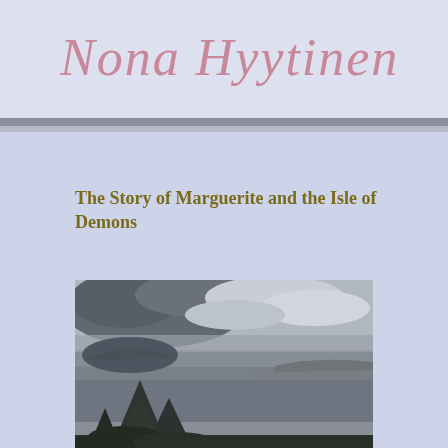Nona Hyytinen
The Story of Marguerite and the Isle of Demons
[Figure (photo): A coastal landscape photograph showing a grey overcast sky with dramatic clouds, a wide body of water in the middle ground, low-lying land or islands visible in the distance, and dark evergreen trees in the foreground lower portion of the image.]